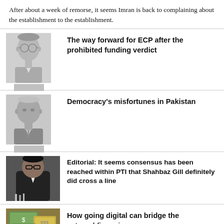After about a week of remorse, it seems Imran is back to complaining about the establishment to the establishment.
[Figure (photo): Black and white portrait photo of an elderly man with glasses]
The way forward for ECP after the prohibited funding verdict
[Figure (photo): Black and white portrait photo of an older man]
Democracy's misfortunes in Pakistan
[Figure (photo): Color photo of a man in black jacket speaking at a podium with microphones]
Editorial: It seems consensus has been reached within PTI that Shahbaz Gill definitely did cross a line
[Figure (photo): Color photo showing currency/money]
How going digital can bridge the external financing gap